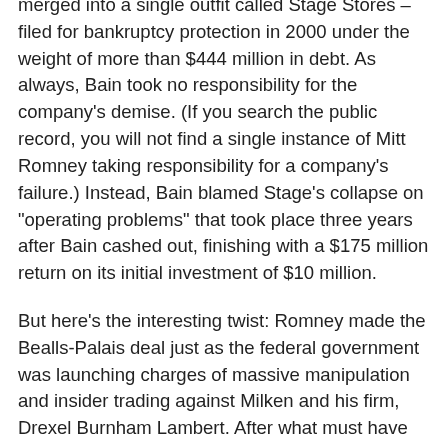merged into a single outfit called Stage Stores – filed for bankruptcy protection in 2000 under the weight of more than $444 million in debt. As always, Bain took no responsibility for the company's demise. (If you search the public record, you will not find a single instance of Mitt Romney taking responsibility for a company's failure.) Instead, Bain blamed Stage's collapse on "operating problems" that took place three years after Bain cashed out, finishing with a $175 million return on its initial investment of $10 million.
But here's the interesting twist: Romney made the Bealls-Palais deal just as the federal government was launching charges of massive manipulation and insider trading against Milken and his firm, Drexel Burnham Lambert. After what must have been a lengthy and agonizing period